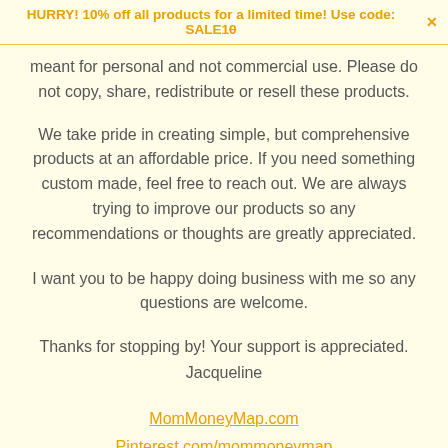HURRY! 10% off all products for a limited time! Use code: SALE10 ✕
meant for personal and not commercial use. Please do not copy, share, redistribute or resell these products.
We take pride in creating simple, but comprehensive products at an affordable price. If you need something custom made, feel free to reach out. We are always trying to improve our products so any recommendations or thoughts are greatly appreciated.
I want you to be happy doing business with me so any questions are welcome.
Thanks for stopping by! Your support is appreciated.
Jacqueline
MomMoneyMap.com
Pinterest.com/mommoneymap